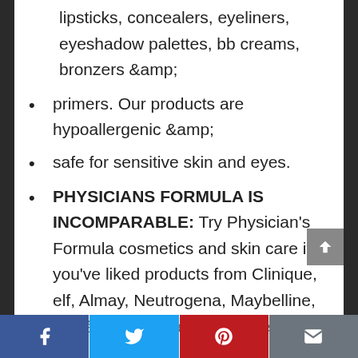lipsticks, concealers, eyeliners, eyeshadow palettes, bb creams, bronzers &amp;
primers. Our products are hypoallergenic &amp;
safe for sensitive skin and eyes.
PHYSICIANS FORMULA IS INCOMPARABLE: Try Physician’s Formula cosmetics and skin care if you’ve liked products from Clinique, elf, Almay, Neutrogena, Maybelline, L’Oréal, Laura Mercier, Estee Lauder, Kylie Cosmetics, NYX.
Facebook | Twitter | Pinterest | Email